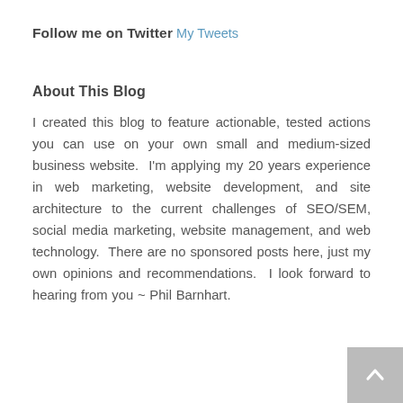Follow me on Twitter
My Tweets
About This Blog
I created this blog to feature actionable, tested actions you can use on your own small and medium-sized business website.  I'm applying my 20 years experience in web marketing, website development, and site architecture to the current challenges of SEO/SEM, social media marketing, website management, and web technology.  There are no sponsored posts here, just my own opinions and recommendations.  I look forward to hearing from you ~ Phil Barnhart.